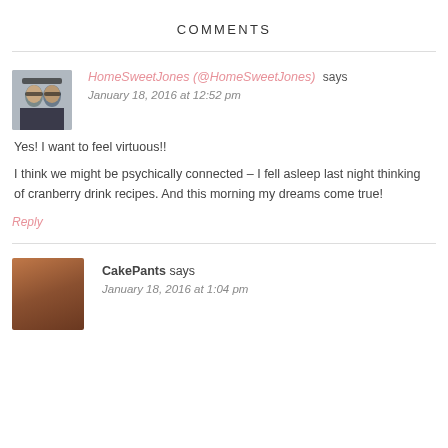COMMENTS
HomeSweetJones (@HomeSweetJones) says
January 18, 2016 at 12:52 pm
Yes! I want to feel virtuous!!
I think we might be psychically connected – I fell asleep last night thinking of cranberry drink recipes. And this morning my dreams come true!
Reply
CakePants says
January 18, 2016 at 1:04 pm